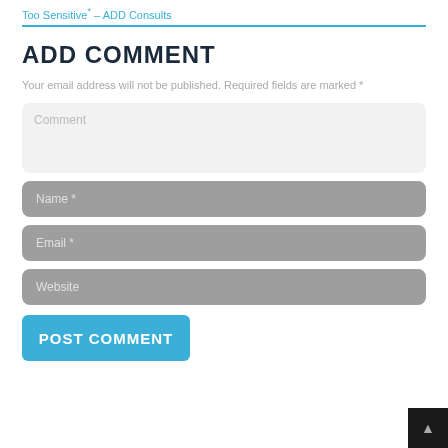Too Sensitive* – ADD Consults
ADD COMMENT
Your email address will not be published. Required fields are marked *
[Figure (other): Comment text area input field with placeholder text 'Comment']
[Figure (other): Name input field with placeholder text 'Name *']
[Figure (other): Email input field with placeholder text 'Email *']
[Figure (other): Website input field with placeholder text 'Website']
[Figure (other): POST COMMENT button in blue]